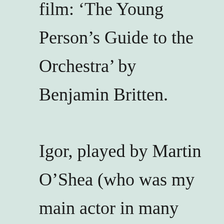film: 'The Young Person's Guide to the Orchestra' by Benjamin Britten.

Igor, played by Martin O'Shea (who was my main actor in many films, and later theatre projects), is an idealistic Socialist and Brecht fanatic. The...